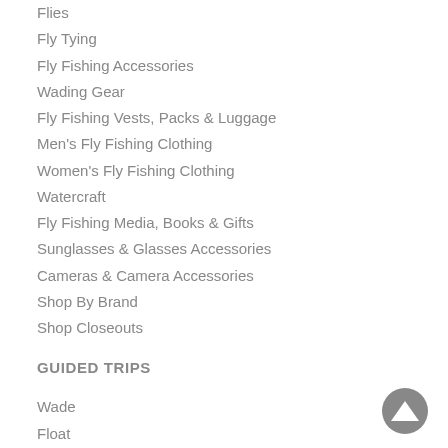Flies
Fly Tying
Fly Fishing Accessories
Wading Gear
Fly Fishing Vests, Packs & Luggage
Men's Fly Fishing Clothing
Women's Fly Fishing Clothing
Watercraft
Fly Fishing Media, Books & Gifts
Sunglasses & Glasses Accessories
Cameras & Camera Accessories
Shop By Brand
Shop Closeouts
GUIDED TRIPS
Wade
Float
Winter
Private Waters
Group / Corporate / Wedding
Fly Fishing Schools